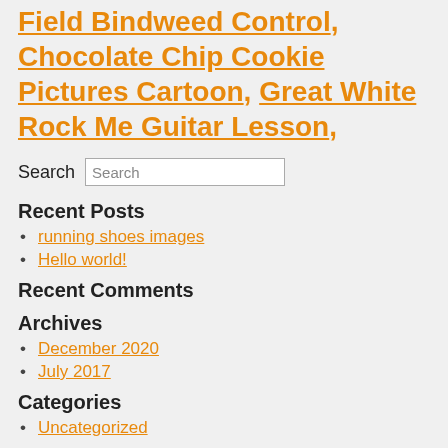Field Bindweed Control, Chocolate Chip Cookie Pictures Cartoon, Great White Rock Me Guitar Lesson,
Search
Recent Posts
running shoes images
Hello world!
Recent Comments
Archives
December 2020
July 2017
Categories
Uncategorized
Meta
Log in
Entries RSS